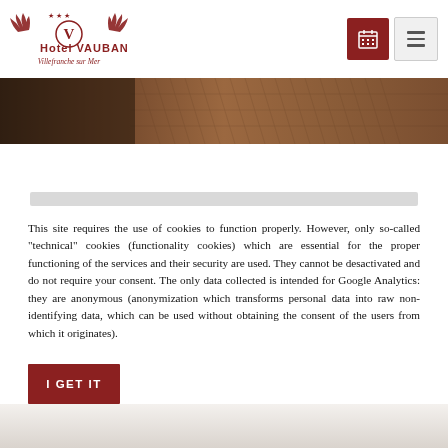Hotel VAUBAN Villefranche sur Mer — navigation header with logo, calendar button, and menu button
[Figure (photo): Hero image strip showing terracotta roof tiles and building materials in warm brown tones]
[Figure (other): Light gray placeholder/loading bar for cookie notice header]
This site requires the use of cookies to function properly. However, only so-called "technical" cookies (functionality cookies) which are essential for the proper functioning of the services and their security are used. They cannot be desactivated and do not require your consent. The only data collected is intended for Google Analytics: they are anonymous (anonymization which transforms personal data into raw non-identifying data, which can be used without obtaining the consent of the users from which it originates).
I GET IT